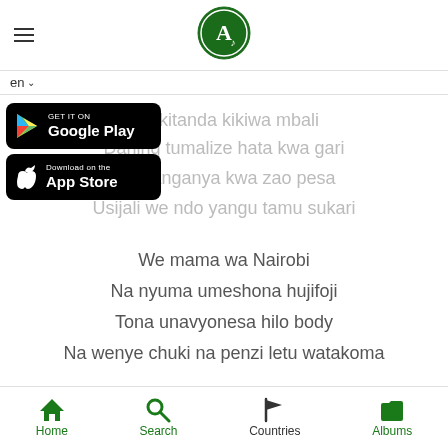[Figure (logo): Circular dark green logo with white letter A and music note]
en ∨
[Figure (screenshot): GET IT ON Google Play badge (black rounded rectangle)]
[Figure (screenshot): Download on the App Store badge (black rounded rectangle)]
ata kitanda kikiwa mbali
Darling tumalize hata kwa gari
akudanganya kwa zao pesa
Usijali we ndo yangu tamu sukari
We mama wa Nairobi
Na nyuma umeshona hujifoji
Tona unavyonesa hilo body
Na wenye chuki na penzi letu watakoma
Home  Search  Countries  Albums